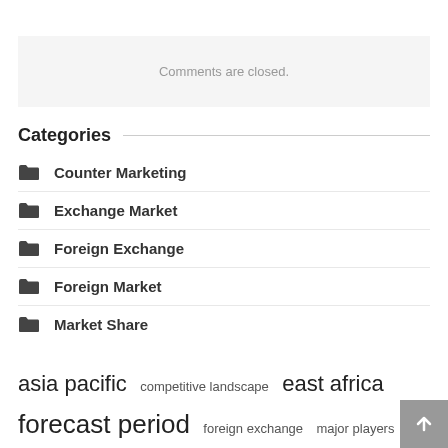Comments are closed.
Categories
Counter Marketing
Exchange Market
Foreign Exchange
Foreign Market
Market Share
asia pacific  competitive landscape  east africa  forecast period  foreign exchange  major players  market growth